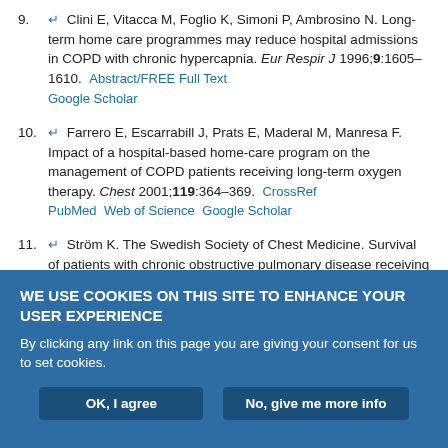9. ↵ Clini E, Vitacca M, Foglio K, Simoni P, Ambrosino N. Long-term home care programmes may reduce hospital admissions in COPD with chronic hypercapnia. Eur Respir J 1996;9:1605–1610. Abstract/FREE Full Text  Google Scholar
10. ↵ Farrero E, Escarrabill J, Prats E, Maderal M, Manresa F. Impact of a hospital-based home-care program on the management of COPD patients receiving long-term oxygen therapy. Chest 2001;119:364–369. CrossRef  PubMed  Web of Science  Google Scholar
11. ↵ Ström K. The Swedish Society of Chest Medicine. Survival of patients with chronic obstructive pulmonary disease receiving long-term domiciliary oxygen therapy. Am Rev Respir Dis 1993;147:585–591. PubMed  Web of Science  Google Scholar
WE USE COOKIES ON THIS SITE TO ENHANCE YOUR USER EXPERIENCE
By clicking any link on this page you are giving your consent for us to set cookies.
OK, I agree   No, give me more info